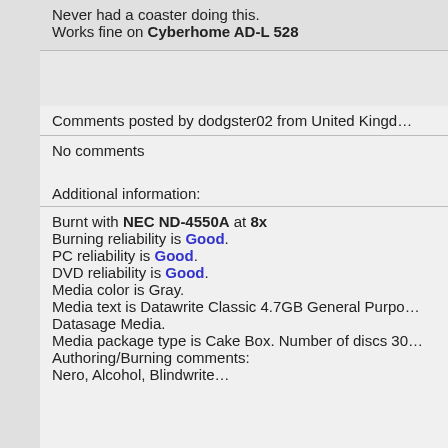Never had a coaster doing this. Works fine on Cyberhome AD-L 528
Comments posted by dodgster02 from United Kingdom
No comments
Additional information:
Burnt with NEC ND-4550A at 8x
Burning reliability is Good.
PC reliability is Good.
DVD reliability is Good.
Media color is Gray.
Media text is Datawrite Classic 4.7GB General Purpose Datasage Media.
Media package type is Cake Box. Number of discs 30
Authoring/Burning comments:
Nero, Alcohol, Blindwrite